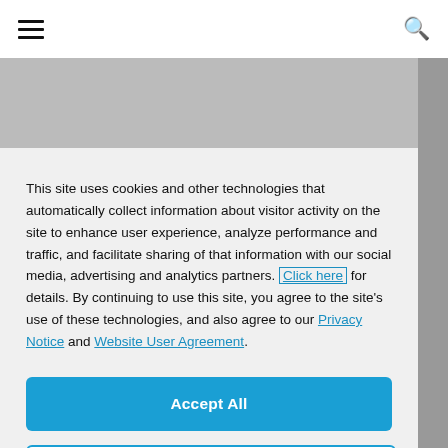Hamburger menu | Search
[Figure (screenshot): Background website page partially visible behind a cookie consent modal dialog]
This site uses cookies and other technologies that automatically collect information about visitor activity on the site to enhance user experience, analyze performance and traffic, and facilitate sharing of that information with our social media, advertising and analytics partners. Click here for details. By continuing to use this site, you agree to the site's use of these technologies, and also agree to our Privacy Notice and Website User Agreement.
Accept All
Cookie Settings